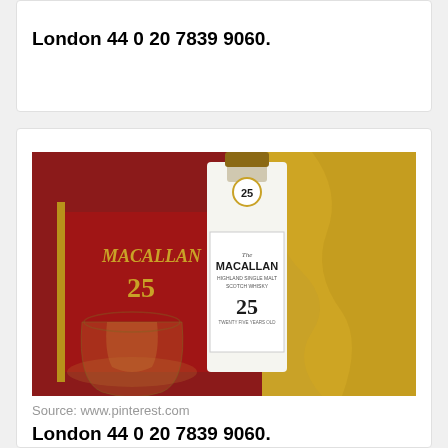London 44 0 20 7839 9060.
[Figure (photo): The Macallan 25 year old single malt Scotch whisky bottle in red gift box with gold satin lining and a whisky glass with amber liquid]
Source: www.pinterest.com
London 44 0 20 7839 9060.